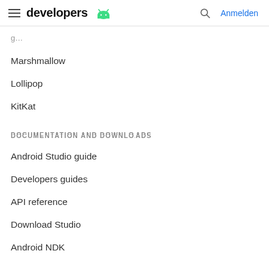developers | Anmelden
Marshmallow
Lollipop
KitKat
DOCUMENTATION AND DOWNLOADS
Android Studio guide
Developers guides
API reference
Download Studio
Android NDK
SUPPORT
Report platform bug